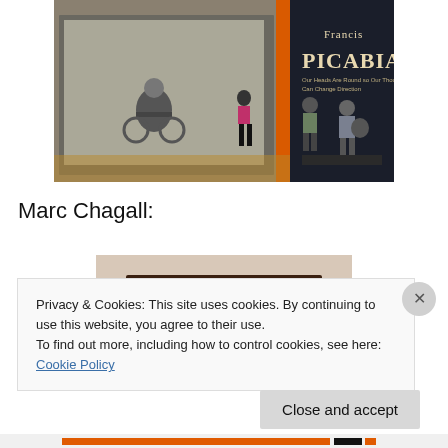[Figure (photo): Museum gallery photo showing visitors looking at a Francis Picabia exhibition. A dark wall displays 'Francis PICABIA' in large text along with subtitle 'Our Heads Are Round so Our Thoughts Can Change Direction'. A large black-and-white photograph of a man on a tricycle is visible, and an orange divider separates sections.]
Marc Chagall:
[Figure (photo): Partial view of a colorful framed painting on a beige gallery wall, showing abstract figures in blue, green, red, and yellow tones.]
Privacy & Cookies: This site uses cookies. By continuing to use this website, you agree to their use.
To find out more, including how to control cookies, see here: Cookie Policy
Close and accept